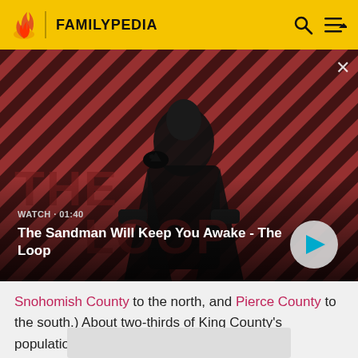FAMILYPEDIA
[Figure (screenshot): Video thumbnail showing a man in black with a raven on his shoulder against a red and dark striped background. Text overlay reads 'WATCH · 01:40' and 'The Sandman Will Keep You Awake - The Loop' with a play button.]
Snohomish County to the north, and Pierce County to the south.) About two-thirds of King County's population lives in Seattle's suburbs.
[Figure (other): Grey advertisement placeholder rectangle at the bottom of the page.]